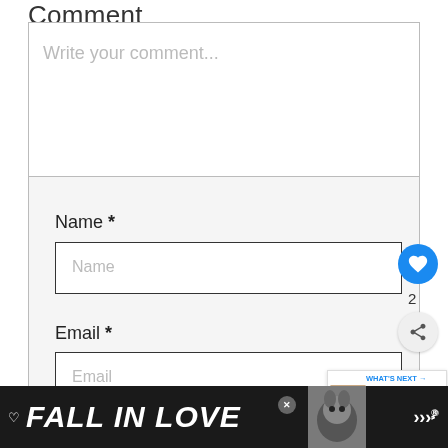Comment
[Figure (screenshot): Comment form with textarea placeholder 'Write your comment...']
Name *
[Figure (screenshot): Name input field with placeholder 'Name']
Email *
[Figure (screenshot): Email input field with placeholder 'Email']
[Figure (screenshot): Comment submit button]
[Figure (infographic): Social interaction widgets: blue heart button with like count 2 and share button]
[Figure (screenshot): What's Next widget showing dog image and 'Possible Reasons Wh...' text]
[Figure (screenshot): Ad banner at bottom: FALL IN LOVE with dog and close button, Tidal logo]